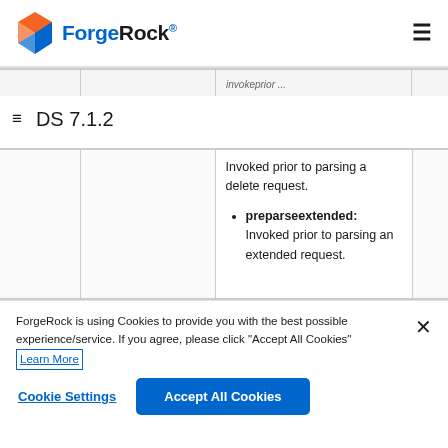ForgeRock DS 7.1.2
|  |  | Invoked prior to parsing a delete request.
preparseextended: Invoked prior to parsing an extended request. |  |
ForgeRock is using Cookies to provide you with the best possible experience/service. If you agree, please click "Accept All Cookies" Learn More
Cookie Settings  Accept All Cookies